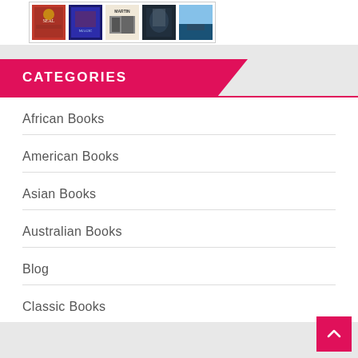[Figure (illustration): Row of book covers showing various novel covers including authors such as Martin, partially visible at top of page]
CATEGORIES
African Books
American Books
Asian Books
Australian Books
Blog
Classic Books